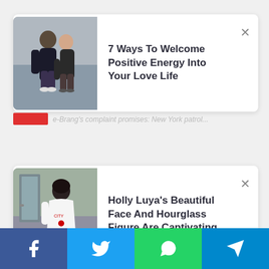7 Ways To Welcome Positive Energy Into Your Love Life
Holly Luya's Beautiful Face And Hourglass Figure Are Captivating
[Figure (infographic): Social media share bar with Facebook, Twitter, WhatsApp, and Telegram icons]